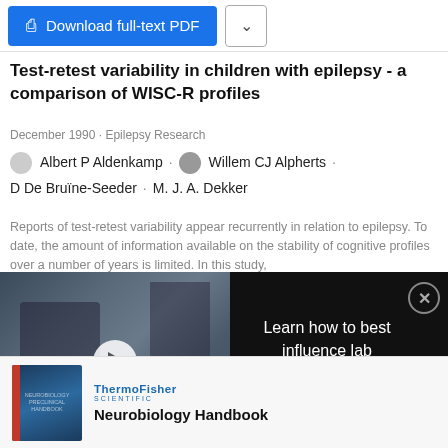[Figure (screenshot): Download full-text PDF button (blue) and dropdown arrow button]
Test-retest variability in children with epilepsy - a comparison of WISC-R profiles
December 1990 · Epilepsy Research
Albert P Aldenkamp · Willem CJ Alpherts · D De Bruïne-Seeder · M. J. A. Dekker
Reports of test-retest variability appear recurrently in relation to epilepsy. To date, the amount of information available on the stability of cognitive profiles over a number of years is limited. In this study,
[Figure (screenshot): Video thumbnail showing lab equipment with overlay text 'Learn how to best influence lab equipment purchasing behavior' and play button]
[Figure (illustration): Neurobiology Handbook advertisement with ThermoFisher Scientific branding and book cover image]